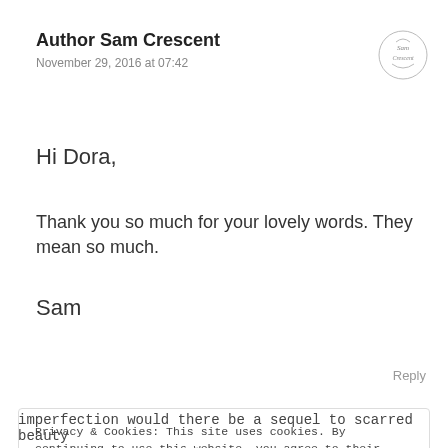Author Sam Crescent
November 29, 2016 at 07:42
[Figure (logo): Sam Crescent author logo - circular script emblem]
Hi Dora,
Thank you so much for your lovely words. They mean so much.
Sam
Reply
Privacy & Cookies: This site uses cookies. By continuing to use this website, you agree to their use.
To find out more, including how to control cookies, see here: Cookie Policy
Close and accept
imperfection would there be a sequel to scarred beauty